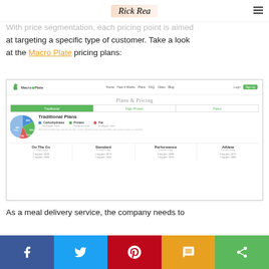Rick Rea
With price segmentation, each pricing point is aimed at targeting a specific type of customer. Take a look at the Macro Plate pricing plans:
[Figure (screenshot): Screenshot of Macro Plate website showing Plans & Pricing page with Traditional, High Protein, and Paleo tabs. Traditional Plans section shows a pie chart with carbohydrates (45%), protein (32%), fat (10%), and a legend. Four pricing columns: On The Go (2 meals a day), Standard (3 meals a day), Performance (3 meals a day), Athlete (3 meals a day) with 5-day and 7-day plan prices.]
As a meal delivery service, the company needs to